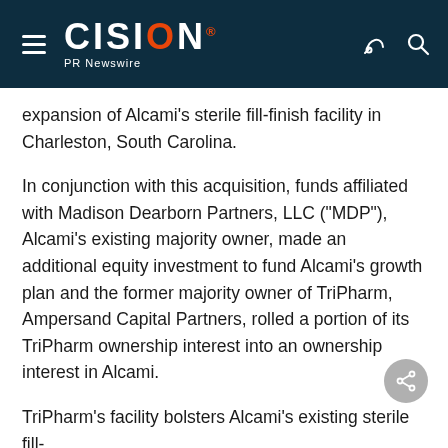CISION PR Newswire
expansion of Alcami's sterile fill-finish facility in Charleston, South Carolina.
In conjunction with this acquisition, funds affiliated with Madison Dearborn Partners, LLC ("MDP"), Alcami's existing majority owner, made an additional equity investment to fund Alcami's growth plan and the former majority owner of TriPharm, Ampersand Capital Partners, rolled a portion of its TriPharm ownership interest into an ownership interest in Alcami.
TriPharm's facility bolsters Alcami's existing sterile fill-